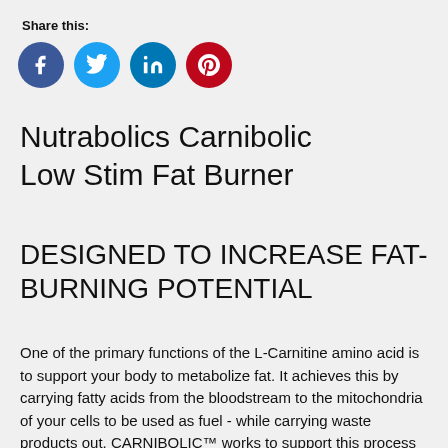Share this:
[Figure (infographic): Four social media share buttons: Facebook (blue circle with f), Twitter (light blue circle with bird), LinkedIn (teal circle with in), Pinterest (red circle with p)]
Nutrabolics Carnibolic Low Stim Fat Burner
DESIGNED TO INCREASE FAT-BURNING POTENTIAL
One of the primary functions of the L-Carnitine amino acid is to support your body to metabolize fat. It achieves this by carrying fatty acids from the bloodstream to the mitochondria of your cells to be used as fuel - while carrying waste products out. CARNIBOLIC™ works to support this process